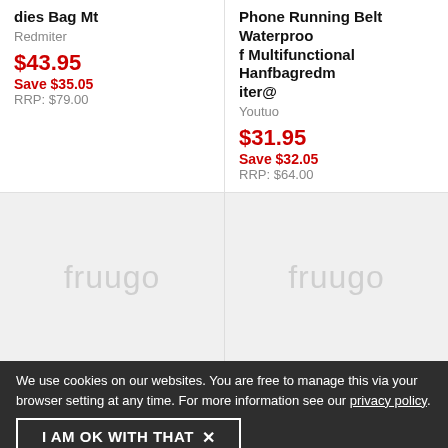dies Bag Mt
Redmiter
$43.95
Save $35.05
RRP: $79.00
Phone Running Belt Waterproof Multifunctional Hanfbagredmiter@
Youtuo
$31.95
Save $32.05
RRP: $64.00
[Figure (logo): Fruugo watermark logo on grey background]
[Figure (logo): Fruugo watermark logo on grey background]
We use cookies on our websites. You are free to manage this via your browser setting at any time. For more information see our privacy policy.
I AM OK WITH THAT
Traditional Handbag Phone Shoulder Handbags Son-mother C
Fashion Messenger Bag Shoulder Bags Leopard Print Kids